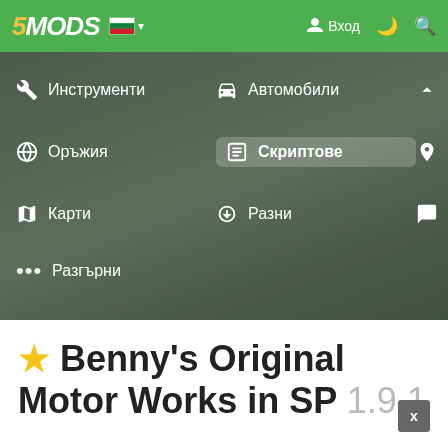5MODS — Вход
[Figure (screenshot): Navigation menu screenshot showing 5MODS website with Bulgarian language menu items: Инструменти, Оръжия, Карти, Разгърни, Автомобили, Скриптове (highlighted), Разни, Пребоядисване, Персонажи, Форум]
⭐ Benny's Original Motor Works in SP 1.9.1